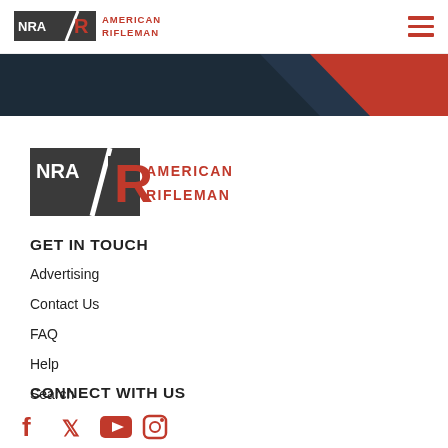[Figure (logo): NRA American Rifleman logo in top navigation bar]
[Figure (illustration): Dark navy and red diagonal hero banner graphic]
[Figure (logo): NRA American Rifleman large footer logo]
GET IN TOUCH
Advertising
Contact Us
FAQ
Help
Search
CONNECT WITH US
[Figure (illustration): Social media icons: Facebook, Twitter, YouTube, Instagram in red]